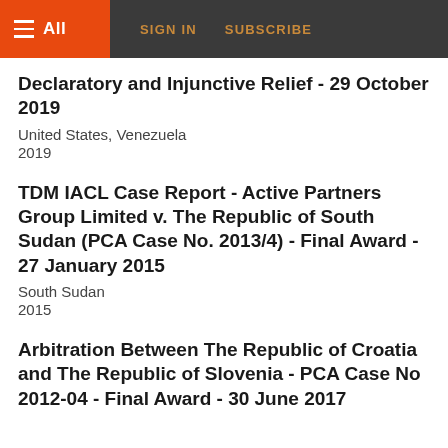All | SIGN IN | SUBSCRIBE
Declaratory and Injunctive Relief - 29 October 2019
United States, Venezuela
2019
TDM IACL Case Report - Active Partners Group Limited v. The Republic of South Sudan (PCA Case No. 2013/4) - Final Award - 27 January 2015
South Sudan
2015
Arbitration Between The Republic of Croatia and The Republic of Slovenia - PCA Case No 2012-04 - Final Award - 30 June 2017